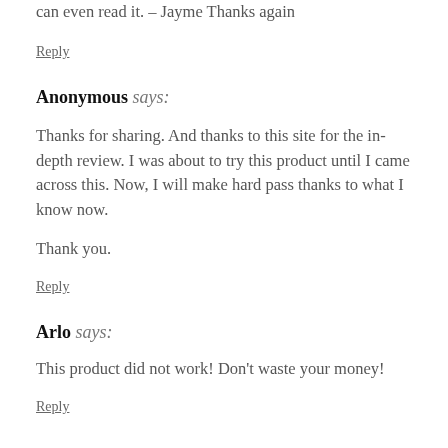can even read it. – Jayme Thanks again
Reply
Anonymous says:
Thanks for sharing. And thanks to this site for the in-depth review. I was about to try this product until I came across this. Now, I will make hard pass thanks to what I know now.

Thank you.
Reply
Arlo says:
This product did not work! Don't waste your money!
Reply